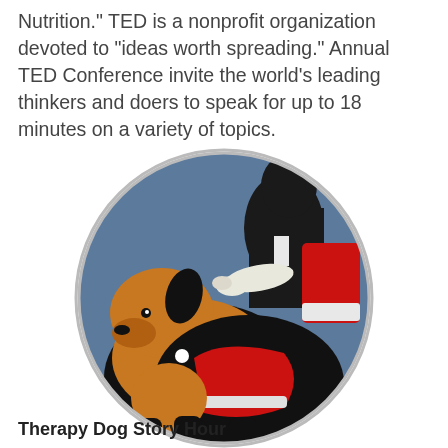Nutrition." TED is a nonprofit organization devoted to "ideas worth spreading." Annual TED Conference invite the world's leading thinkers and doers to speak for up to 18 minutes on a variety of topics.
[Figure (illustration): A circular logo showing a therapy dog (golden/black coloring) wearing a red service vest, with a person's hand extended toward the dog, against a steel-blue background.]
Therapy Dog Story Hour